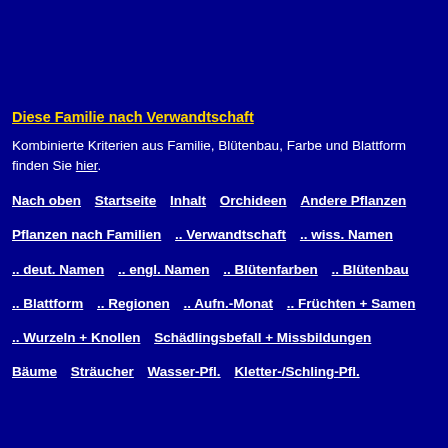Diese Familie nach Verwandtschaft
Kombinierte Kriterien aus Familie, Blütenbau, Farbe und Blattform finden Sie hier.
Nach oben   Startseite   Inhalt   Orchideen   Andere Pflanzen
Pflanzen nach Familien   .. Verwandtschaft   .. wiss. Namen
.. deut. Namen   .. engl. Namen   .. Blütenfarben   .. Blütenbau
.. Blattform   .. Regionen   .. Aufn.-Monat   .. Früchten + Samen
.. Wurzeln + Knollen   Schädlingsbefall + Missbildungen
Bäume   Sträucher   Wasser-Pfl.   Kletter-/Schling-Pfl.